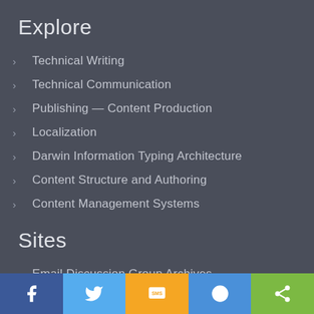Explore
Technical Writing
Technical Communication
Publishing — Content Production
Localization
Darwin Information Typing Architecture
Content Structure and Authoring
Content Management Systems
Sites
Email Discussion Group Archives
[Figure (infographic): Social sharing bar with icons for Facebook, Twitter, SMS, Messenger, and Share]